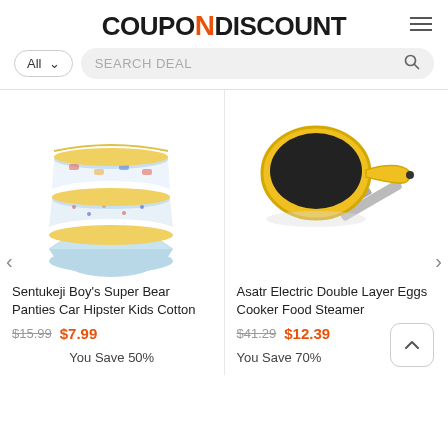[Figure (logo): CouponNDiscount logo with orange N letter]
All  SEARCH DEAL
[Figure (photo): Sentukeji Boy's cotton car print underwear/panties stacked]
[Figure (photo): Asatr Electric Double Layer Eggs Cooker Food Steamer - yellow pan with spatula]
Sentukeji Boy's Super Bear Panties Car Hipster Kids Cotton
Asatr Electric Double Layer Eggs Cooker Food Steamer
$15.99  $7.99
$41.29  $12.39
You Save 50%
You Save 70%